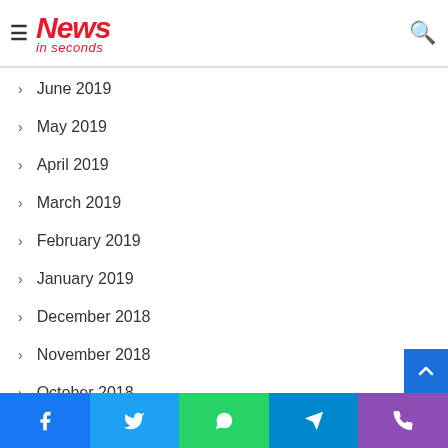News in seconds
June 2019
May 2019
April 2019
March 2019
February 2019
January 2019
December 2018
November 2018
October 2018
September 2018
August 2018
Facebook Twitter WhatsApp Telegram Phone